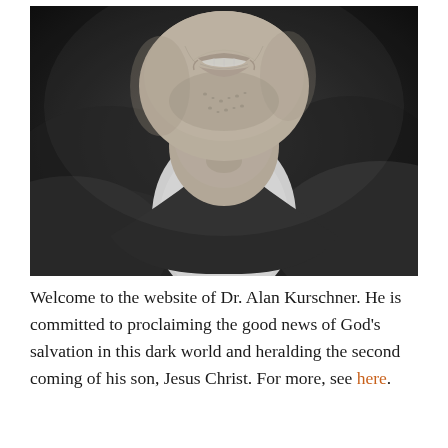[Figure (photo): Black and white close-up photo of a smiling man from chin to chest, wearing a white collared shirt under a dark sweater, with slight stubble visible.]
Welcome to the website of Dr. Alan Kurschner. He is committed to proclaiming the good news of God's salvation in this dark world and heralding the second coming of his son, Jesus Christ. For more, see here.